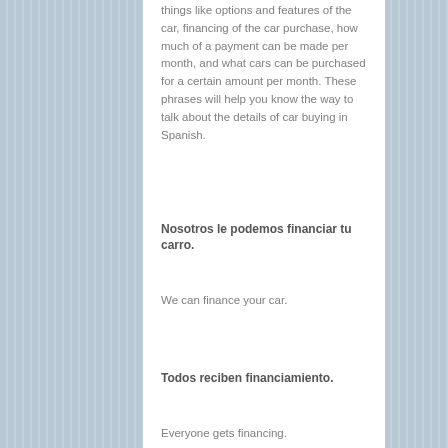things like options and features of the car, financing of the car purchase, how much of a payment can be made per month, and what cars can be purchased for a certain amount per month. These phrases will help you know the way to talk about the details of car buying in Spanish.
Nosotros le podemos financiar tu carro.
We can finance your car.
Todos reciben financiamiento.
Everyone gets financing.